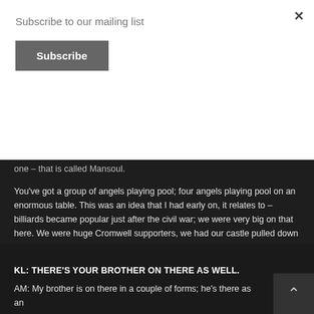Subscribe to our mailing list
Subscribe
one – that is called Mansoul.
You've got a group of angels playing pool; four angels playing pool on an enormous table. This was an idea that I had early on, it relates to – billiards became popular just after the civil war; we were very big on that here. We were huge Cromwell supporters, we had our castle pulled down largely because we'd kept the king under house arrest here for 6 months or however long it was until Cromwell could change the law and behead him. For which Charles II, he got a bit of a grudge, he couldn't let it go you know. So he had the castle pulled down.
KL: THERE'S YOUR BROTHER ON THERE AS WELL.
AM: My brother is on there in a couple of forms; he's there as an